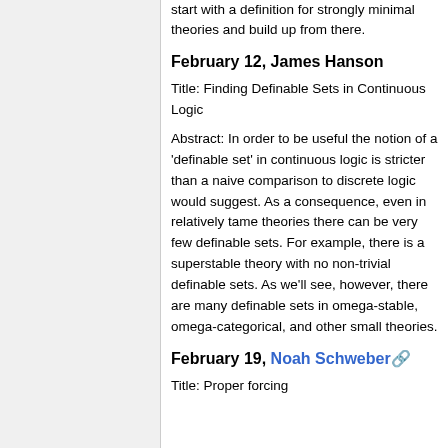start with a definition for strongly minimal theories and build up from there.
February 12, James Hanson
Title: Finding Definable Sets in Continuous Logic
Abstract: In order to be useful the notion of a 'definable set' in continuous logic is stricter than a naive comparison to discrete logic would suggest. As a consequence, even in relatively tame theories there can be very few definable sets. For example, there is a superstable theory with no non-trivial definable sets. As we'll see, however, there are many definable sets in omega-stable, omega-categorical, and other small theories.
February 19, Noah Schweber
Title: Proper forcing